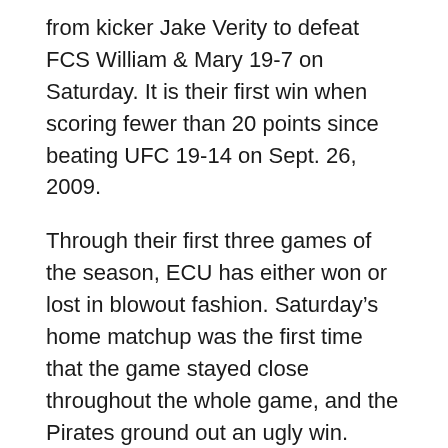from kicker Jake Verity to defeat FCS William & Mary 19-7 on Saturday. It is their first win when scoring fewer than 20 points since beating UFC 19-14 on Sept. 26, 2009.
Through their first three games of the season, ECU has either won or lost in blowout fashion. Saturday's home matchup was the first time that the game stayed close throughout the whole game, and the Pirates ground out an ugly win.
“I figured this game would be about like this. What we just talked about is would this team have won this game last year? I don’t know but this showed a lot of maturities and pulling for each other and sticking together because they never panicked on the sideline,” ECU head coach